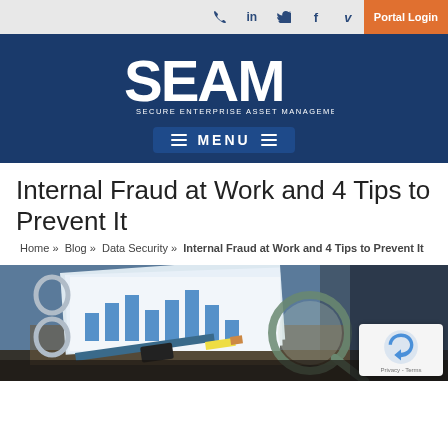Portal Login | Social icons: phone, LinkedIn, Twitter, Facebook, Vimeo
[Figure (logo): SEAM - Secure Enterprise Asset Management logo in white on dark blue background, with MENU navigation bar below]
Internal Fraud at Work and 4 Tips to Prevent It
Home » Blog » Data Security » Internal Fraud at Work and 4 Tips to Prevent It
[Figure (photo): Photo of an open binder with financial charts and a magnifying glass on top, with a pencil and eraser, on a dark wooden desk]